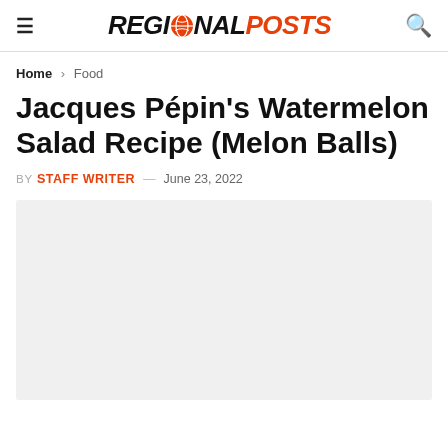REGIONAL POSTS
Home > Food
Jacques Pépin's Watermelon Salad Recipe (Melon Balls)
BY STAFF WRITER — June 23, 2022
[Figure (photo): Light gray placeholder image area for article photo]